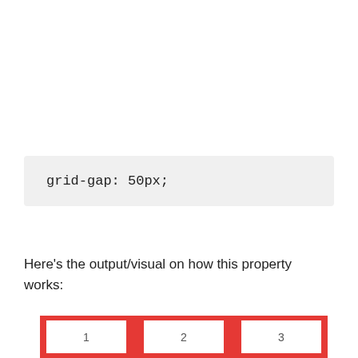grid-gap: 50px;
Here's the output/visual on how this property works:
[Figure (illustration): A red grid container showing 3 white numbered boxes (1, 2, 3) separated by red gaps of 50px, demonstrating the grid-gap CSS property.]